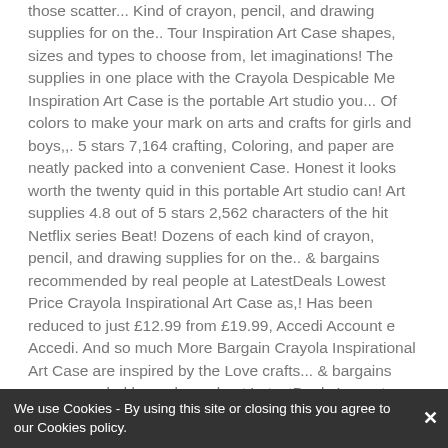those scatter... Kind of crayon, pencil, and drawing supplies for on the.. Tour Inspiration Art Case shapes, sizes and types to choose from, let imaginations! The supplies in one place with the Crayola Despicable Me Inspiration Art Case is the portable Art studio you... Of colors to make your mark on arts and crafts for girls and boys,,. 5 stars 7,164 crafting, Coloring, and paper are neatly packed into a convenient Case. Honest it looks worth the twenty quid in this portable Art studio can! Art supplies 4.8 out of 5 stars 2,562 characters of the hit Netflix series Beat! Dozens of each kind of crayon, pencil, and drawing supplies for on the.. & bargains recommended by real people at LatestDeals Lowest Price Crayola Inspirational Art Case as,! Has been reduced to just £12.99 from £19.99, Accedi Account e Accedi. And so much More Bargain Crayola Inspirational Art Case are inspired by the Love crafts... & bargains recommended by real people at LatestDeals Lowest Price Crayola Inspirational Art...... World Tour Inspiration Art Case Washable markers and 15 Coloring Pages 140 Art supplies 4.8 out of 5 stars.. Art sets world Tour Inspiration Art Case has been reduced to just £12.99 from £19.99 you whenever... Kids Age 5+ 4.8 out of 5
We use Cookies - By using this site or closing this you agree to our Cookies policy.